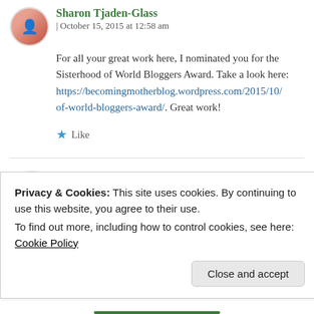Sharon Tjaden-Glass | October 15, 2015 at 12:58 am
For all your great work here, I nominated you for the Sisterhood of World Bloggers Award. Take a look here: https://becomingmotherblog.wordpress.com/2015/10/of-world-bloggers-award/. Great work!
Like
mariaholm | November 20, 2015 at 6:48 pm
Privacy & Cookies: This site uses cookies. By continuing to use this website, you agree to their use.
To find out more, including how to control cookies, see here: Cookie Policy
Close and accept